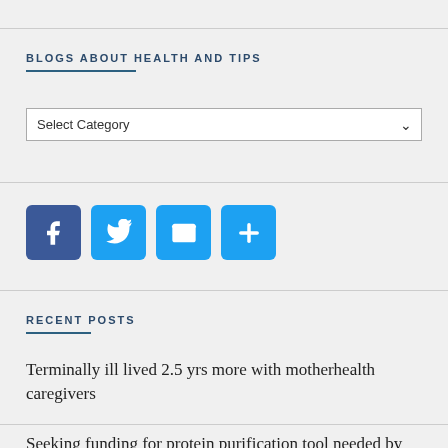BLOGS ABOUT HEALTH AND TIPS
[Figure (screenshot): Select Category dropdown input box]
[Figure (infographic): Social sharing icons: Facebook, Twitter, Email, Share (plus sign)]
RECENT POSTS
Terminally ill lived 2.5 yrs more with motherhealth caregivers
Seeking funding for protein purification tool needed by